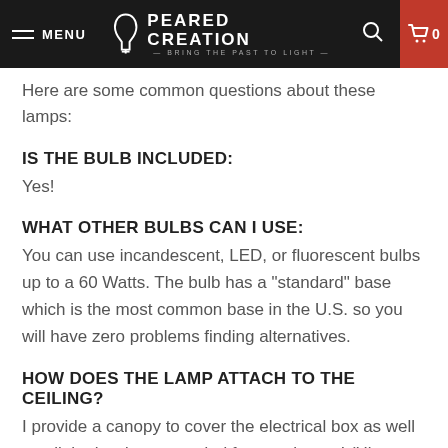MENU | PEARED CREATION — BRING THE PAST TO LIGHT | 🔍 | 🛒 0
Here are some common questions about these lamps:
IS THE BULB INCLUDED:
Yes!
WHAT OTHER BULBS CAN I USE:
You can use incandescent, LED, or fluorescent bulbs up to a 60 Watts. The bulb has a "standard" base which is the most common base in the U.S. so you will have zero problems finding alternatives.
HOW DOES THE LAMP ATTACH TO THE CEILING?
I provide a canopy to cover the electrical box as well as all the hardware needed for attachment! (Hint - this is something to look for as you're shopping as some sellers do